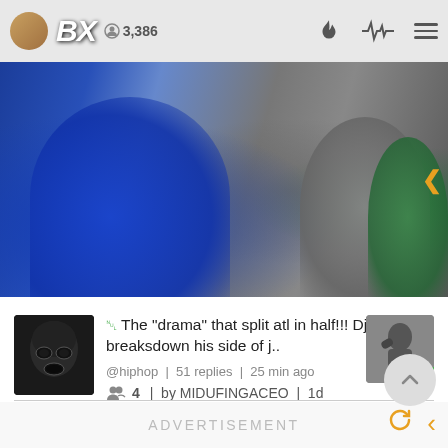BX | 3,386
[Figure (photo): Hero image showing multiple people sitting around a table, one wearing a blue hoodie, another in a gray shirt, and a third in a green hoodie on the right edge]
The "drama" that split atl in half!!! Dj drama breaksdown his side of j..
@hiphop | 51 replies | 25 min ago
4 | by MIDUFINGACEO | 1d
ADVERTISEMENT